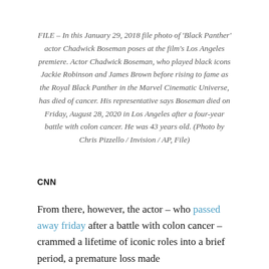FILE – In this January 29, 2018 file photo of 'Black Panther' actor Chadwick Boseman poses at the film's Los Angeles premiere. Actor Chadwick Boseman, who played black icons Jackie Robinson and James Brown before rising to fame as the Royal Black Panther in the Marvel Cinematic Universe, has died of cancer. His representative says Boseman died on Friday, August 28, 2020 in Los Angeles after a four-year battle with colon cancer. He was 43 years old. (Photo by Chris Pizzello / Invision / AP, File)
CNN
From there, however, the actor – who passed away friday after a battle with colon cancer – crammed a lifetime of iconic roles into a brief period, a premature loss made